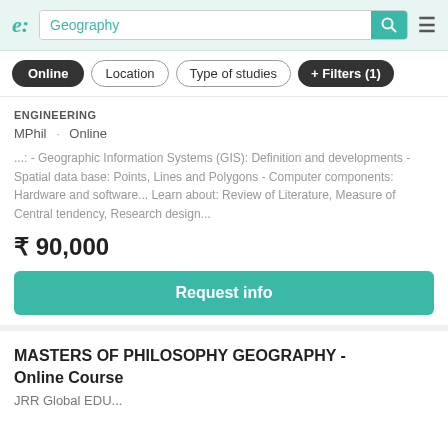e: Geography [search bar] [menu]
Online
Location
Type of studies
+ Filters (1)
ENGINEERING
MPhil · Online
...: - Geographic Information Systems (GIS): Definition and developments - Spatial data base: Points, Lines and Polygons - Computer components: Hardware and software... Learn about: Review of Literature, Measure of Central tendency, Research design...
₹ 90,000
Request info
MASTERS OF PHILOSOPHY GEOGRAPHY - Online Course
JRR Global EDU...